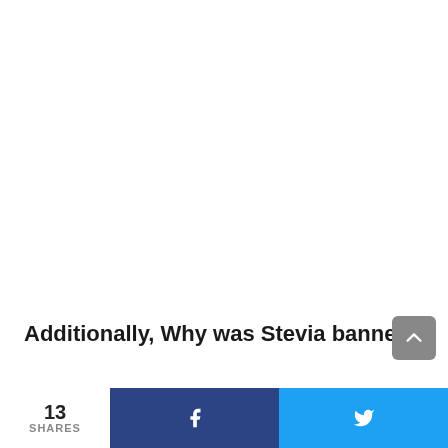Additionally, Why was Stevia banned?
Though widely available throughout the world, in
13 SHARES  f  🐦